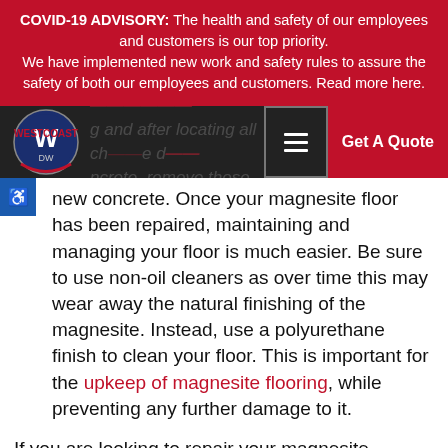COVID-19 ADVISORY: The health and safety of our employees and customers is our top priority.
We have implemented new work and safety rules to assure the safety of both our employees and customers. Read more here.
[Figure (screenshot): Website navigation bar with West Coast DW logo on left, partially visible background text about flooring repair, hamburger menu button, and red 'Get A Quote' button]
new concrete. Once your magnesite floor has been repaired, maintaining and managing your floor is much easier. Be sure to use non-oil cleaners as over time this may wear away the natural finishing of the magnesite. Instead, use a polyurethane finish to clean your floor. This is important for the upkeep of magnesite flooring, while preventing any further damage to it.

If you are looking to repair your magnesite flooring, call West Coast Water Proofing for a QUOTE today!